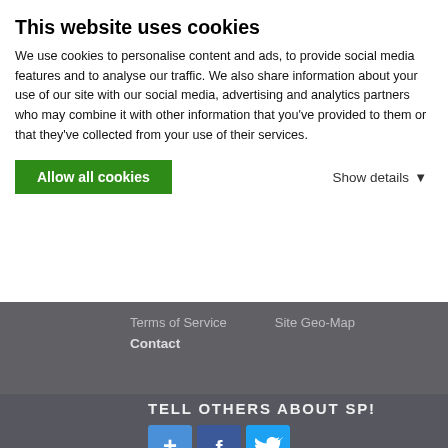This website uses cookies
We use cookies to personalise content and ads, to provide social media features and to analyse our traffic. We also share information about your use of our site with our social media, advertising and analytics partners who may combine it with other information that you've provided to them or that they've collected from your use of their services.
Allow all cookies
Show details
Terms of Service
Site Geo-Map
Contact
TELL OTHERS ABOUT SP!
[Figure (other): Three social sharing buttons: a blue plus (+) button, a Facebook (f) button in blue, and a Twitter bird button in blue]
"How do you distinguish between being off-route and putting up a first ascent?"  –Bruce Bindner
© 2006-2021 SummitPost.org. All Rights Reserved.